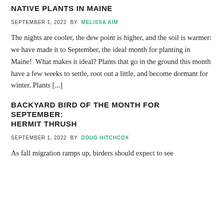NATIVE PLANTS IN MAINE
SEPTEMBER 1, 2022 BY MELISSA KIM
The nights are cooler, the dew point is higher, and the soil is warmer: we have made it to September, the ideal month for planting in Maine!  What makes it ideal? Plants that go in the ground this month have a few weeks to settle, root out a little, and become dormant for winter. Plants [...]
BACKYARD BIRD OF THE MONTH FOR SEPTEMBER: HERMIT THRUSH
SEPTEMBER 1, 2022 BY DOUG HITCHCOX
As fall migration ramps up, birders should expect to see